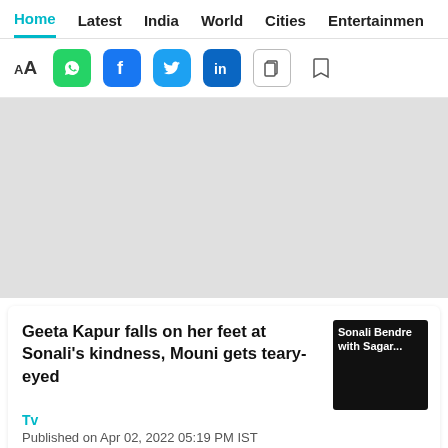Home  Latest  India  World  Cities  Entertainment
[Figure (screenshot): Toolbar with font size icon (AA), WhatsApp, Facebook, Twitter, LinkedIn social sharing buttons, copy and bookmark icons]
[Figure (photo): Gray advertisement/image placeholder area]
Geeta Kapur falls on her feet at Sonali's kindness, Mouni gets teary-eyed
Tv
Published on Apr 02, 2022 05:19 PM IST